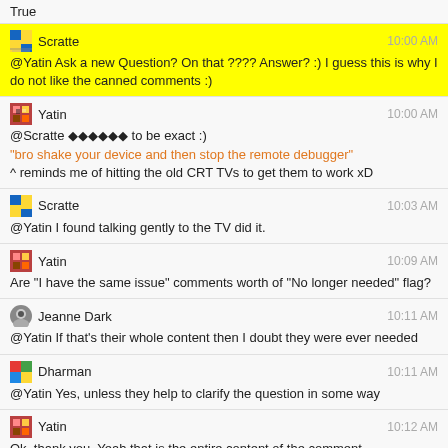True
Scratte 10:00 AM
@Yatin Ask a new Question? On that ???? Answer? :) I guess this is why I do not like the canned comments :)
Yatin 10:00 AM
@Scratte ♦♦♦♦♦♦ to be exact :)
"bro shake your device and then stop the remote debugger"
^ reminds me of hitting the old CRT TVs to get them to work xD
Scratte 10:03 AM
@Yatin I found talking gently to the TV did it.
Yatin 10:09 AM
Are "I have the same issue" comments worth of "No longer needed" flag?
Jeanne Dark 10:11 AM
@Yatin If that's their whole content then I doubt they were ever needed
Dharman 10:11 AM
@Yatin Yes, unless they help to clarify the question in some way
Yatin 10:12 AM
Ok, thank you. Yeah that is the entire content of the comment
Is this on-topic?
tripleee 10:18 AM